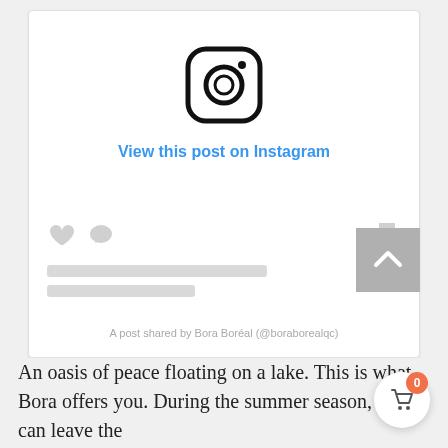[Figure (screenshot): Instagram embed card showing the Instagram logo, 'View this post on Instagram' link in blue, placeholder action icons (heart, comment, bookmark), two gray placeholder text lines, and attribution text 'A post shared by Bora Boréal (@boraborealqc)']
An oasis of peace floating on a lake. This is what Bora offers you. During the summer season, you can leave the